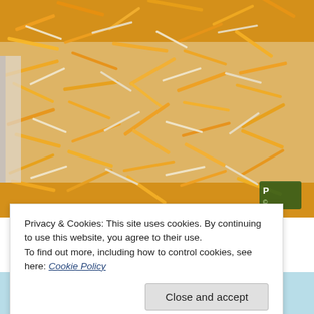[Figure (photo): Close-up photo of shredded cheddar and mozzarella cheese on top of enchiladas in a baking dish. Orange and white cheese strands visible. Small watermark/logo in bottom right corner.]
Privacy & Cookies: This site uses cookies. By continuing to use this website, you agree to their use.
To find out more, including how to control cookies, see here: Cookie Policy
Close and accept
[Figure (photo): Partial view of another food photo at the bottom of the page, showing green herbs/mint on a light blue background.]